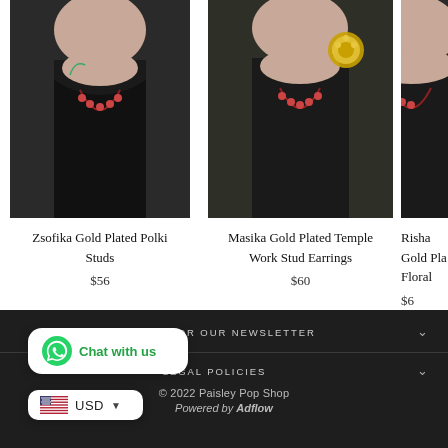[Figure (photo): Model wearing dark outfit showing Zsofika Gold Plated Polki Studs earrings]
Zsofika Gold Plated Polki Studs
$56
[Figure (photo): Model wearing dark outfit with gold earrings showing Masika Gold Plated Temple Work Stud Earrings]
Masika Gold Plated Temple Work Stud Earrings
$60
[Figure (photo): Partial view of model showing Risha Gold Plated Floral earrings]
Risha Gold Pla... Floral
$6...
SIGN UP FOR OUR NEWSLETTER
LEGAL POLICIES
© 2022 Paisley Pop Shop
Powered by Adflow
Chat with us
USD